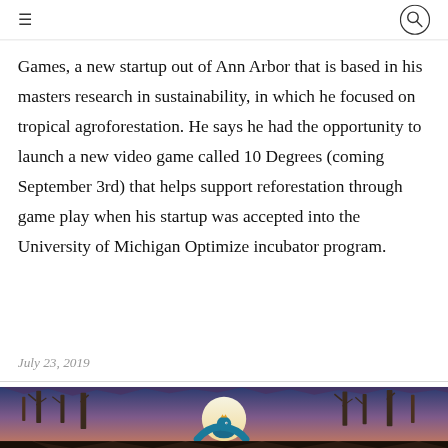≡  🔍
Games, a new startup out of Ann Arbor that is based in his masters research in sustainability, in which he focused on tropical agroforestation. He says he had the opportunity to launch a new video game called 10 Degrees (coming September 3rd) that helps support reforestation through game play when his startup was accepted into the University of Michigan Optimize incubator program.
July 23, 2019
[Figure (illustration): Stylized forest scene at sunset/dusk with a blue dragon-like creature wearing a crown, surrounded by bare trees silhouetted against a large moon, with purple/blue/orange gradient sky background. The image appears to be video game artwork for '10 Degrees'.]